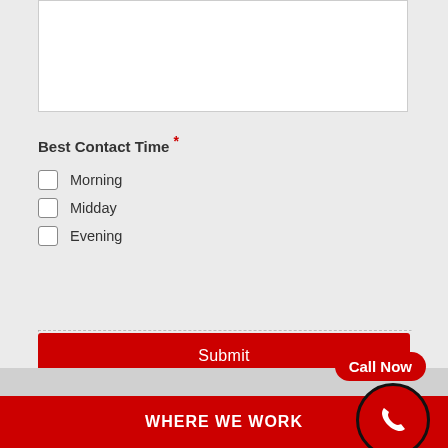[Figure (screenshot): Empty text area input box with white background and grey border, partially visible at top of page]
Best Contact Time *
Morning
Midday
Evening
Submit
Call Now
WHERE WE WORK